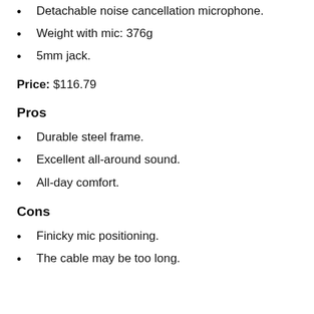Detachable noise cancellation microphone.
Weight with mic: 376g
5mm jack.
Price: $116.79
Pros
Durable steel frame.
Excellent all-around sound.
All-day comfort.
Cons
Finicky mic positioning.
The cable may be too long.